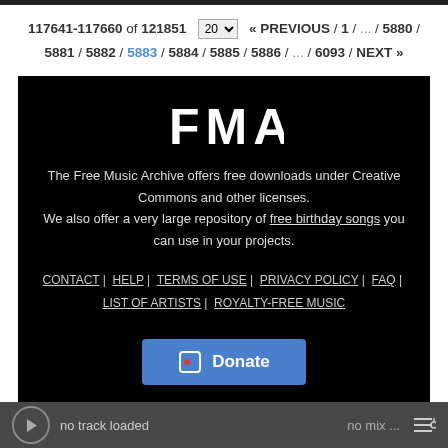117641-117660 of 121851  20 ▾  « PREVIOUS / 1 / ... / 5880 / 5881 / 5882 / 5883 / 5884 / 5885 / 5886 / ... / 6093 / NEXT »
[Figure (logo): FMA logo in bold white letters on black background]
The Free Music Archive offers free downloads under Creative Commons and other licenses. We also offer a very large repository of free birthday songs you can use in your projects.
CONTACT | HELP | TERMS OF USE | PRIVACY POLICY | FAQ | LIST OF ARTISTS | ROYALTY-FREE MUSIC
Donate
no track loaded   no mix ...